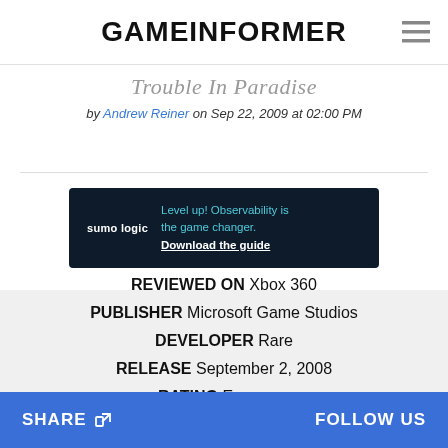GAMEINFORMER
Trouble In Paradise
by Andrew Reiner on Sep 22, 2009 at 02:00 PM
[Figure (other): Sumo Logic advertisement banner: 'Level up! Observability is the game changer. Download the guide']
REVIEWED ON Xbox 360
PUBLISHER Microsoft Game Studios
DEVELOPER Rare
RELEASE September 2, 2008
RATING Everyone
SHARE   FOLLOW US